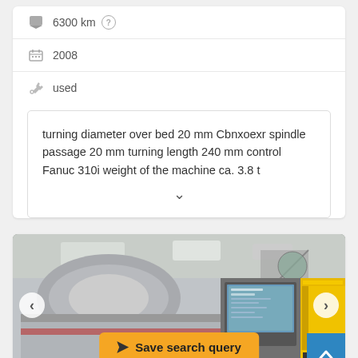6300 km
2008
used
turning diameter over bed 20 mm Cbnxoexr spindle passage 20 mm turning length 240 mm control Fanuc 310i weight of the machine ca. 3.8 t
[Figure (photo): CNC lathe machine in industrial workshop, showing the machine body, control panel with screen, and yellow machine in background. Navigation arrows on left and right sides. 'Save search query' button overlay at bottom center. Scroll-up button at bottom right.]